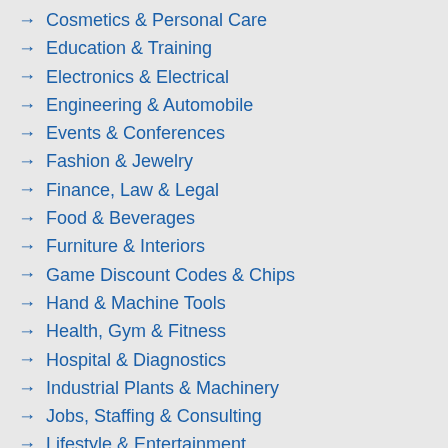Cosmetics & Personal Care
Education & Training
Electronics & Electrical
Engineering & Automobile
Events & Conferences
Fashion & Jewelry
Finance, Law & Legal
Food & Beverages
Furniture & Interiors
Game Discount Codes & Chips
Hand & Machine Tools
Health, Gym & Fitness
Hospital & Diagnostics
Industrial Plants & Machinery
Jobs, Staffing & Consulting
Lifestyle & Entertainment
Loan & Insurance
Marble, Granite & Stones